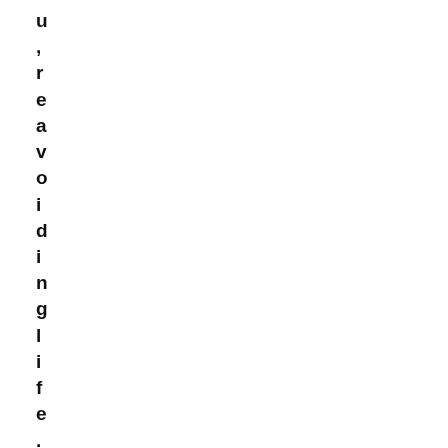u
,
r
e
a
v
o
i
d
i
n
g
l
i
f
e
.
Y
o
u
n
e
e
d
t
o
s
t